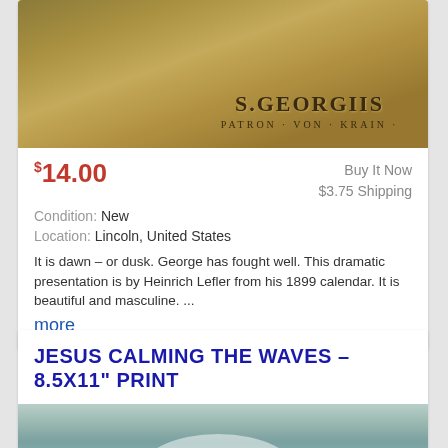[Figure (photo): Artwork showing S. Georgius Patron von Krain, a dramatic medieval-style illustration with golden-brown tones]
$14.00
Buy It Now
$3.75 Shipping
Condition: New
Location: Lincoln, United States
It is dawn – or dusk. George has fought well. This dramatic presentation is by Heinrich Lefler from his 1899 calendar. It is beautiful and masculine. ...
more
JESUS CALMING THE WAVES – 8.5X11" PRINT
[Figure (photo): Artwork showing turbulent ocean waves, soft teal and grey tones, partially visible]